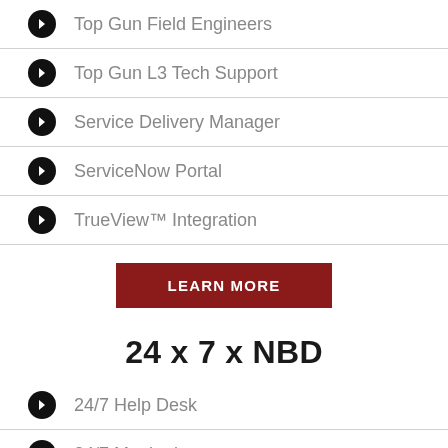Top Gun Field Engineers
Top Gun L3 Tech Support
Service Delivery Manager
ServiceNow Portal
TrueView™ Integration
LEARN MORE
24 x 7 x NBD
24/7 Help Desk
24/7 Monitoring